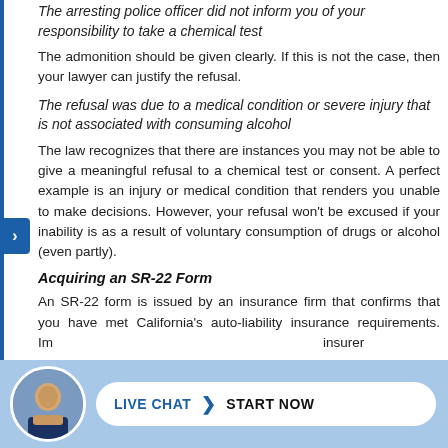The arresting police officer did not inform you of your responsibility to take a chemical test
The admonition should be given clearly. If this is not the case, then your lawyer can justify the refusal.
The refusal was due to a medical condition or severe injury that is not associated with consuming alcohol
The law recognizes that there are instances you may not be able to give a meaningful refusal to a chemical test or consent. A perfect example is an injury or medical condition that renders you unable to make decisions. However, your refusal won't be excused if your inability is as a result of voluntary consumption of drugs or alcohol (even partly).
Acquiring an SR-22 Form
An SR-22 form is issued by an insurance firm that confirms that you have met California's auto-liability insurance requirements. Im... insurer